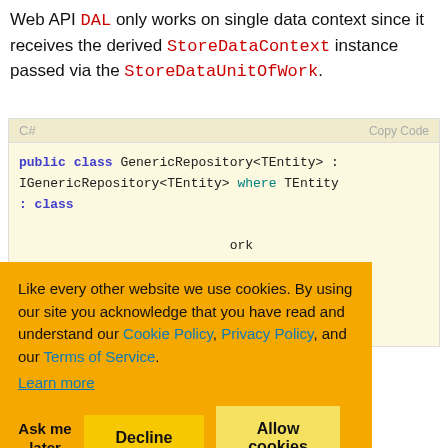Web API DAL only works on single data context since it receives the derived StoreDataContext instance passed via the StoreDataUnitOfWork.
[Figure (screenshot): C# code block showing GenericRepository<TEntity> class declaration implementing IGenericRepository<TEntity> where TEntity : class, with StoreDataUnitOfWork references]
Like every other website we use cookies. By using our site you acknowledge that you have read and understand our Cookie Policy, Privacy Policy, and our Terms of Service. Learn more
Hence, other generic repository classes with